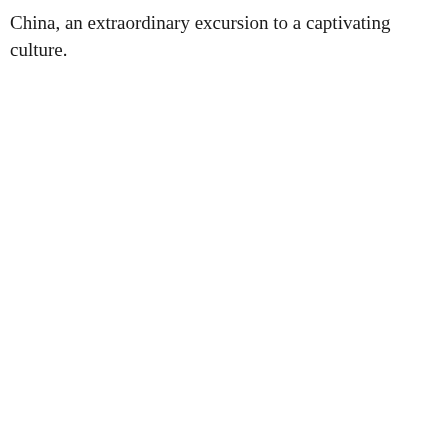China, an extraordinary excursion to a captivating culture.